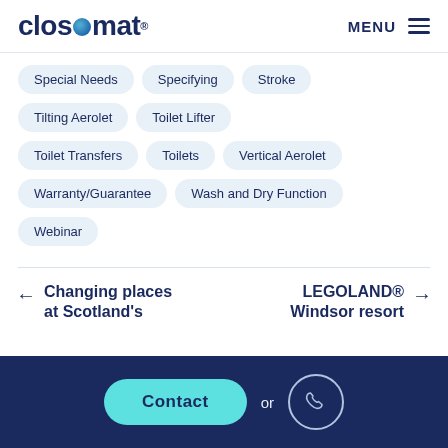[Figure (logo): Closomat logo in dark navy with a blue dot replacing the 'o', followed by registered trademark symbol]
Special Needs
Specifying
Stroke
Tilting Aerolet
Toilet Lifter
Toilet Transfers
Toilets
Vertical Aerolet
Warranty/Guarantee
Wash and Dry Function
Webinar
← Changing places at Scotland's
LEGOLAND® Windsor resort →
Contact or [phone icon]